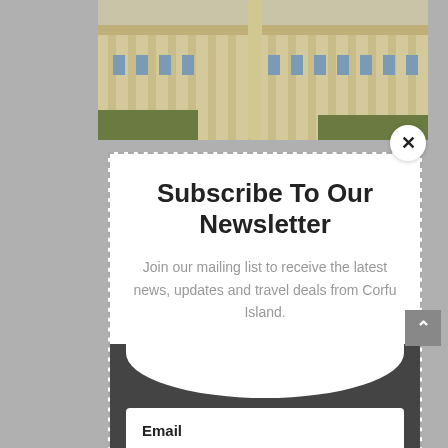[Figure (photo): Photograph of a classical building with columns, partially visible at the top of the page]
Subscribe To Our Newsletter
Join our mailing list to receive the latest news, updates and travel deals from Corfu Island.
Email
SUBSCRIBE!
Leave a message